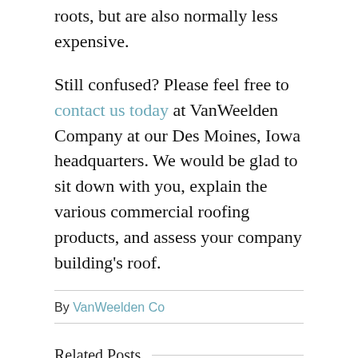roots, but are also normally less expensive.
Still confused? Please feel free to contact us today at VanWeelden Company at our Des Moines, Iowa headquarters. We would be glad to sit down with you, explain the various commercial roofing products, and assess your company building's roof.
By VanWeelden Co
Related Posts
[Figure (photo): Thumbnail image for article 'How To Understand LIFE EXPECTANCY of Your Commercial R...' with red subtitle text and left arrow navigation]
[Figure (photo): Thumbnail image for article 'Main Reason Why FLAT ROO...' with white/red text overlay and right arrow navigation]